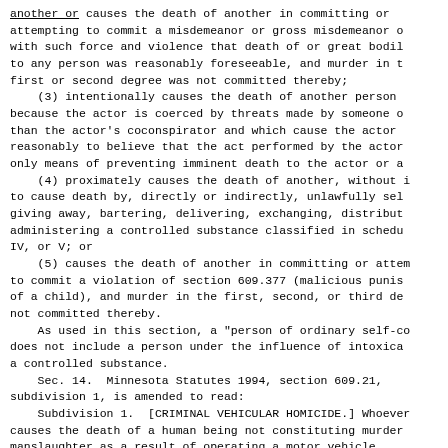another or causes the death of another in committing or attempting to commit a misdemeanor or gross misdemeanor o with such force and violence that death of or great bodil to any person was reasonably foreseeable, and murder in t first or second degree was not committed thereby;
    (3) intentionally causes the death of another person because the actor is coerced by threats made by someone o than the actor's coconspirator and which cause the actor reasonably to believe that the act performed by the actor only means of preventing imminent death to the actor or a
    (4) proximately causes the death of another, without i to cause death by, directly or indirectly, unlawfully sel giving away, bartering, delivering, exchanging, distribut administering a controlled substance classified in schedu IV, or V; or
    (5) causes the death of another in committing or attem to commit a violation of section 609.377 (malicious punis of a child), and murder in the first, second, or third de not committed thereby.
    As used in this section, a "person of ordinary self-co does not include a person under the influence of intoxica a controlled substance.
    Sec. 14.  Minnesota Statutes 1994, section 609.21, subdivision 1, is amended to read:
    Subdivision 1.  [CRIMINAL VEHICULAR HOMICIDE.] Whoever causes the death of a human being not constituting murder manslaughter as a result of operating a motor vehicle,
    (1) in a grossly negligent manner;